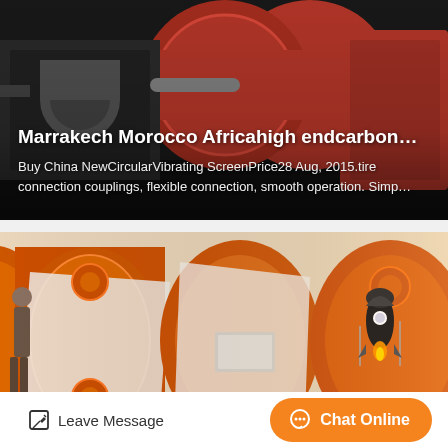[Figure (photo): Industrial machinery photo showing a large red rotary drum/kiln and other heavy equipment in a dark factory setting]
Marrakech Morocco Africahigh endcarbon…
Buy China NewCircularVibrating ScreenPrice28 Aug, 2015.tire connection couplings, flexible connection, smooth operation. Simp…
[Figure (photo): Photo of multiple large orange industrial ball mills or grinding machines lined up outdoors with a person standing nearby and a rocket-style graphic overlay in the lower right]
Leave Message
Chat Online